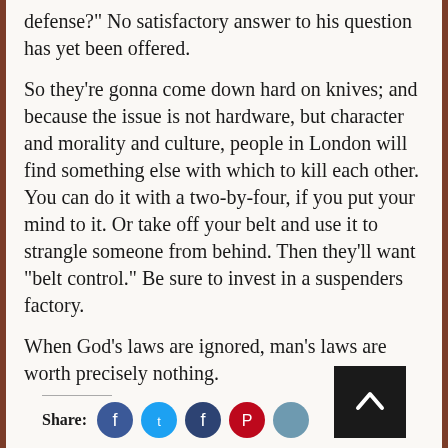defense?" No satisfactory answer to his question has yet been offered.
So they're gonna come down hard on knives; and because the issue is not hardware, but character and morality and culture, people in London will find something else with which to kill each other. You can do it with a two-by-four, if you put your mind to it. Or take off your belt and use it to strangle someone from behind. Then they'll want "belt control." Be sure to invest in a suspenders factory.
When God's laws are ignored, man's laws are worth precisely nothing.
Share:
[Figure (other): Social media share icons (Facebook, Twitter, dark Facebook, Pinterest, another icon) and a scroll-to-top button]